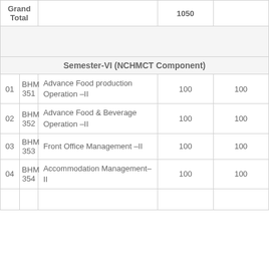| S.No. | Paper Code | Subject | Marks | Max Marks |
| --- | --- | --- | --- | --- |
| Grand Total |  |  | 1050 |  |
|  |  | Semester-VI (NCHMCT Component) |  |  |
| 01 | BHM 351 | Advance Food production Operation –II | 100 | 100 |
| 02 | BHM 352 | Advance Food & Beverage Operation –II | 100 | 100 |
| 03 | BHM 353 | Front Office Management –II | 100 | 100 |
| 04 | BHM 354 | Accommodation Management–II | 100 | 100 |